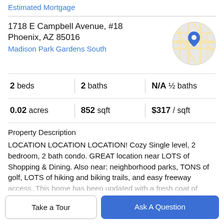Estimated Mortgage
1718 E Campbell Avenue, #18
Phoenix, AZ 85016
Madison Park Gardens South
[Figure (map): Circular map thumbnail showing street map with blue location pin marker]
| 2 beds | 2 baths | N/A ½ baths |
| 0.02 acres | 852 sqft | $317 / sqft |
Property Description
LOCATION LOCATION LOCATION! Cozy Single level, 2 bedroom, 2 bath condo. GREAT location near LOTS of Shopping & Dining. Also near: neighborhood parks, TONS of golf, LOTS of hiking and biking trails, and easy freeway access. This home has been updated with a fresh coat of
Take a Tour
Ask A Question